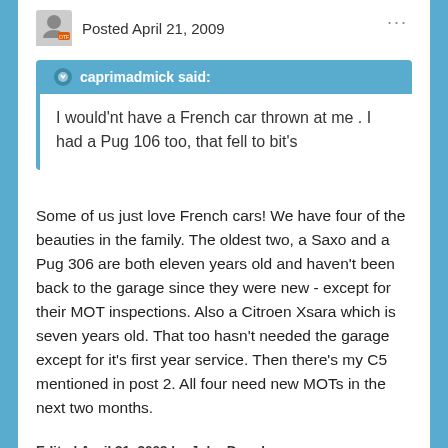Posted April 21, 2009
caprimadmick said:
I would'nt have a French car thrown at me . I had a Pug 106 too, that fell to bit's
Some of us just love French cars! We have four of the beauties in the family. The oldest two, a Saxo and a Pug 306 are both eleven years old and haven't been back to the garage since they were new - except for their MOT inspections. Also a Citroen Xsara which is seven years old. That too hasn't needed the garage except for it's first year service. Then there's my C5 mentioned in post 2. All four need new MOTs in the next two months.
Edited April 21, 2009 by John Douglas